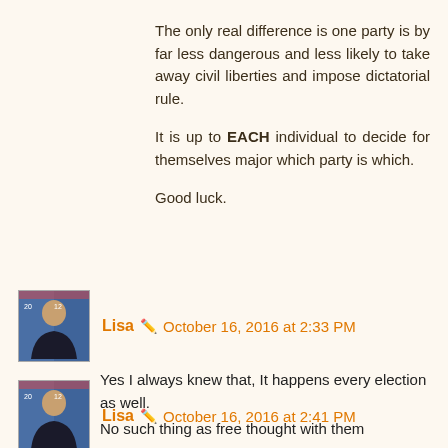The only real difference is one party is by far less dangerous and less likely to take away civil liberties and impose dictatorial rule.
It is up to EACH individual to decide for themselves major which party is which.
Good luck.
Lisa 🖊 October 16, 2016 at 2:33 PM
Yes I always knew that, It happens every election as well.
No such thing as free thought with them
Lisa 🖊 October 16, 2016 at 2:41 PM
Wow RN that is a far stretch even for you. This kid sounds like he already had tbe tools to be a successful,independent adult as opposed to be dependent like the left thinks.